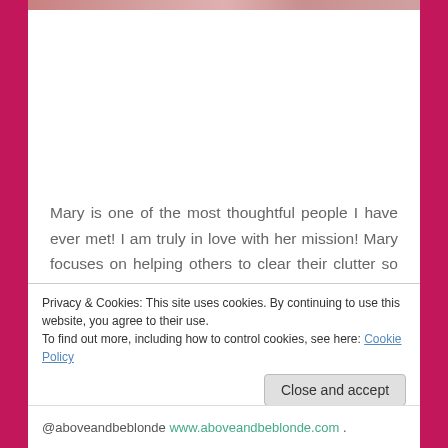[Figure (photo): Partial photo strip at top of page showing people]
Mary is one of the most thoughtful people I have ever met! I am truly in love with her mission! Mary focuses on helping others to clear their clutter so they can move forward with their lives. I am a big believer in this as well.  Especially when I am embarking on a new project, I always take time to tidy a closet or clear away
Privacy & Cookies: This site uses cookies. By continuing to use this website, you agree to their use.
To find out more, including how to control cookies, see here: Cookie Policy
Close and accept
@aboveandbeblonde www.aboveandbeblonde.com .